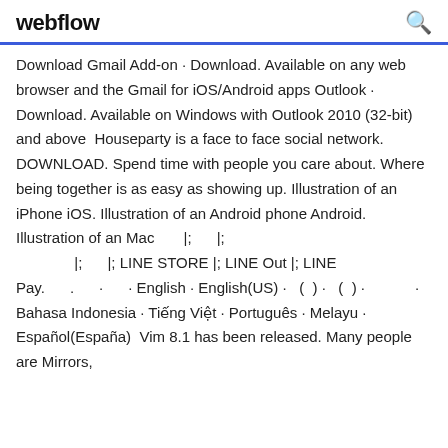webflow
Download Gmail Add-on · Download. Available on any web browser and the Gmail for iOS/Android apps Outlook · Download. Available on Windows with Outlook 2010 (32-bit) and above  Houseparty is a face to face social network. DOWNLOAD. Spend time with people you care about. Where being together is as easy as showing up. Illustration of an iPhone iOS. Illustration of an Android phone Android. Illustration of an Mac      |;      |;               |;       |; LINE STORE |; LINE Out |; LINE Pay.      .      ·       · English · English(US) ·   (  )  ·   (  ) ·            · Bahasa Indonesia · Tiếng Việt · Português · Melayu · Español(España)  Vim 8.1 has been released. Many people are Mirrors,